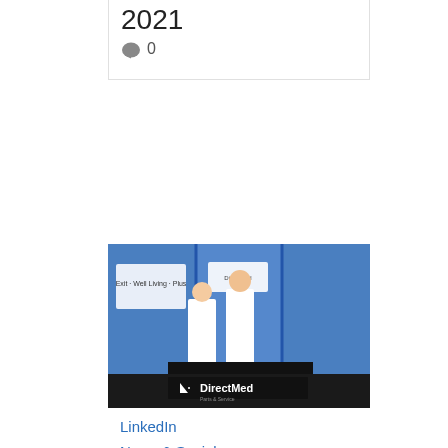2021
💬 0
[Figure (photo): Two people standing at a DirectMed trade show booth with blue background panels]
LinkedIn
News & Social
Direct Med Parts at FIME 2021 in Miami!
Our account